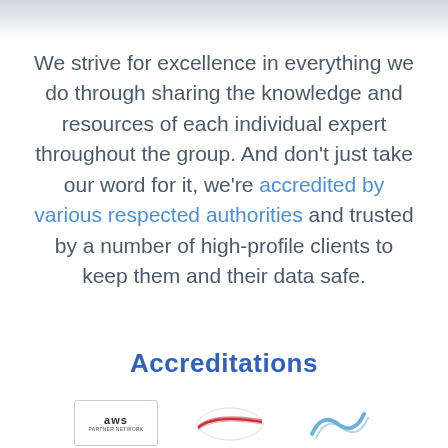We strive for excellence in everything we do through sharing the knowledge and resources of each individual expert throughout the group. And don't just take our word for it, we're accredited by various respected authorities and trusted by a number of high-profile clients to keep them and their data safe.
Accreditations
[Figure (logo): Row of accreditation logos: AWS logo, a wing/airline-style logo, and a curved wave logo]